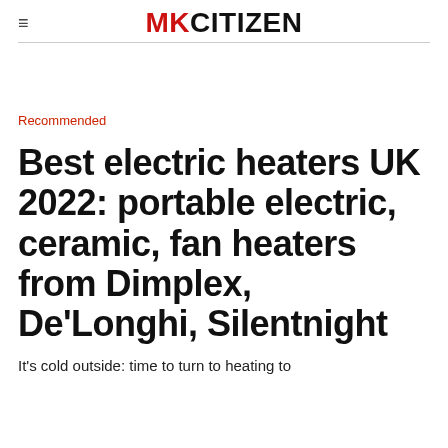MK CITIZEN
Recommended
Best electric heaters UK 2022: portable electric, ceramic, fan heaters from Dimplex, De'Longhi, Silentnight
It's cold outside: time to turn to heating to